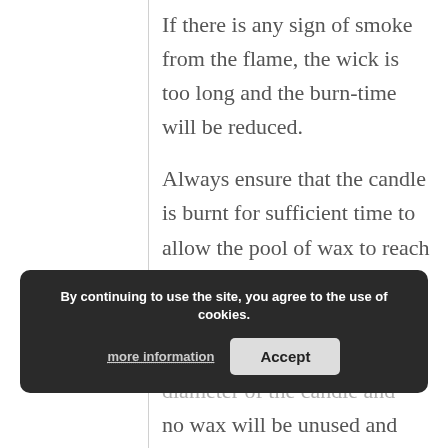If there is any sign of smoke from the flame, the wick is too long and the burn-time will be reduced.
Always ensure that the candle is burnt for sufficient time to allow the pool of wax to reach the sides of the container.
This will mean the draw-down of wax will be even across the diameter of the candle and no wax will be unused and
By continuing to use the site, you agree to the use of cookies.
more information
Accept
no wax will be unused and